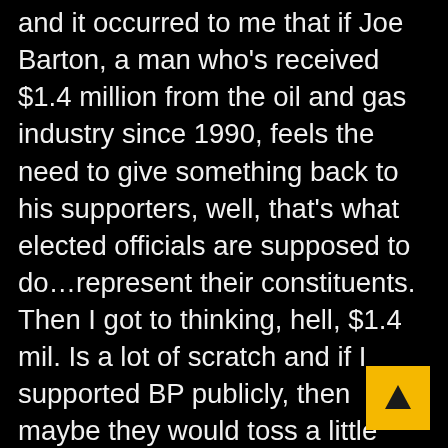and it occurred to me that if Joe Barton, a man who's received $1.4 million from the oil and gas industry since 1990, feels the need to give something back to his supporters, well, that's what elected officials are supposed to do…represent their constituents. Then I got to thinking, hell, $1.4 mil. Is a lot of scratch and if I supported BP publicly, then maybe they would toss a little something my way too.
I'm not asking for nearly a million and a half bucks, I want that to be made clear right away. I'm not a greedy man and anyway, with BP being forced to shell out